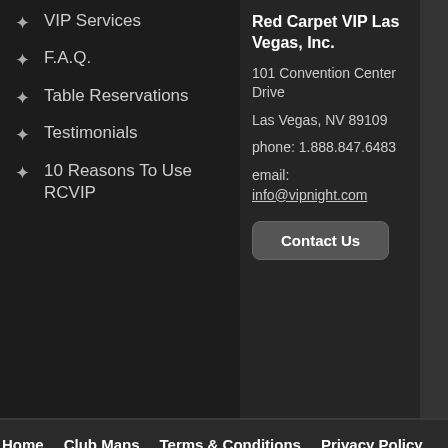VIP Services
F.A.Q.
Table Reservations
Testimonials
10 Reasons To Use RCVIP
Red Carpet VIP Las Vegas, Inc.
101 Convention Center Drive
Las Vegas, NV 89109
phone: 1.888.847.6483
email: info@vipnight.com
Contact Us
Home   Club Maps   Terms & Conditions   Privacy Policy
The information contained in this website for Las Vegas Nightclubs, Las Vegas Clu... The information is provided by Red Carpet VIP and while we endeavor to keep the pool parties up to date and correct, we make no representations or warranties o... availability with respect to the website or the information on the website related to La... relliance you place on such information is therefore strictly at your own risk.